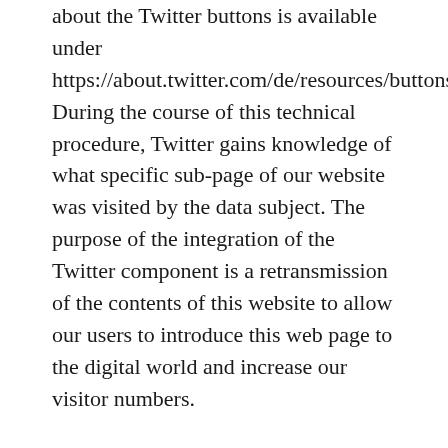about the Twitter buttons is available under https://about.twitter.com/de/resources/buttons. During the course of this technical procedure, Twitter gains knowledge of what specific sub-page of our website was visited by the data subject. The purpose of the integration of the Twitter component is a retransmission of the contents of this website to allow our users to introduce this web page to the digital world and increase our visitor numbers.
If the data subject is logged in at the same time on Twitter, Twitter detects with every call-up to our website by the data subject and for the entire duration of their stay on our Internet site which specific sub-page of our Internet page was visited by the data subject. This information is collected through the